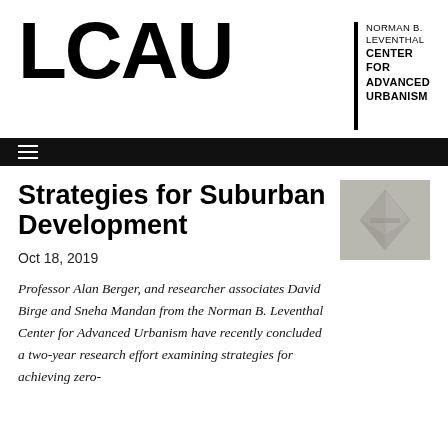LCAU | NORMAN B. LEVENTHAL CENTER FOR ADVANCED URBANISM
[Figure (logo): LCAU logo with large block letters and vertical bar with text Norman B. Leventhal Center for Advanced Urbanism]
[Figure (photo): Aerial photograph of a suburban development or site plan]
Strategies for Suburban Development
Oct 18, 2019
Professor Alan Berger, and researcher associates David Birge and Sneha Mandan from the Norman B. Leventhal Center for Advanced Urbanism have recently concluded a two-year research effort examining strategies for achieving zero-